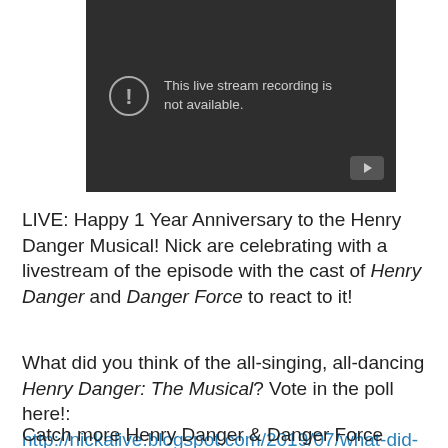[Figure (screenshot): YouTube-style video player placeholder showing 'This live stream recording is not available.' message on dark background with warning icon and play button in bottom right.]
LIVE: Happy 1 Year Anniversary to the Henry Danger Musical! Nick are celebrating with a livestream of the episode with the cast of Henry Danger and Danger Force to react to it!
What did you think of the all-singing, all-dancing Henry Danger: The Musical? Vote in the poll here!: http://nickalive.blogspot.com/2019/07/what-did-you-think-of-new-henry-danger_28.html
Catch more Henry Danger & Danger Force everywhere